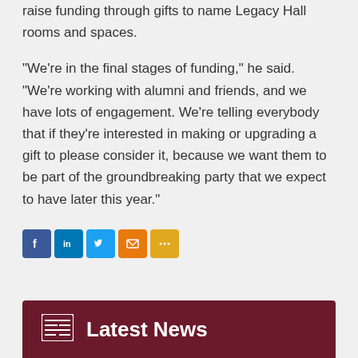raise funding through gifts to name Legacy Hall rooms and spaces.
"We're in the final stages of funding," he said. "We're working with alumni and friends, and we have lots of engagement. We're telling everybody that if they're interested in making or upgrading a gift to please consider it, because we want them to be part of the groundbreaking party that we expect to have later this year."
[Figure (infographic): Social sharing buttons: Facebook (blue), LinkedIn (dark blue), Twitter (light blue), Email (orange), More (yellow/gold)]
Latest News